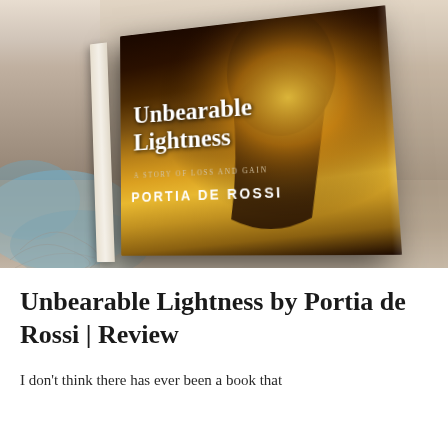[Figure (photo): A photograph of the book 'Unbearable Lightness: A Story of Loss and Gain' by Portia de Rossi, lying on a surface with watercolor artwork visible underneath. The book cover features a silhouette of a person against a warm golden/amber light background.]
Unbearable Lightness by Portia de Rossi | Review
I don't think there has ever been a book that